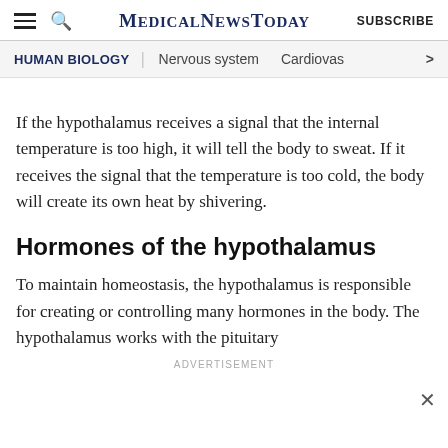MedicalNewsToday | SUBSCRIBE
HUMAN BIOLOGY | Nervous system | Cardiovas
If the hypothalamus receives a signal that the internal temperature is too high, it will tell the body to sweat. If it receives the signal that the temperature is too cold, the body will create its own heat by shivering.
Hormones of the hypothalamus
To maintain homeostasis, the hypothalamus is responsible for creating or controlling many hormones in the body. The hypothalamus works with the pituitary
ADVERTISEMENT